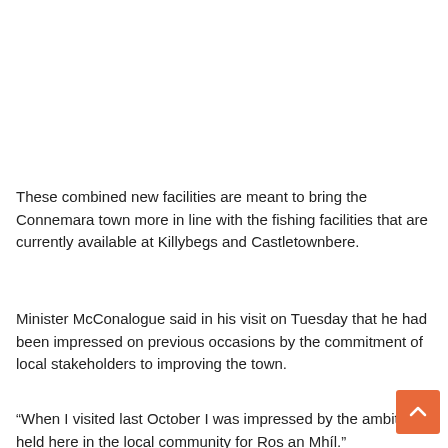These combined new facilities are meant to bring the Connemara town more in line with the fishing facilities that are currently available at Killybegs and Castletownbere.
Minister McConalogue said in his visit on Tuesday that he had been impressed on previous occasions by the commitment of local stakeholders to improving the town.
“When I visited last October I was impressed by the ambitions held here in the local community for Ros an Mhíl.”